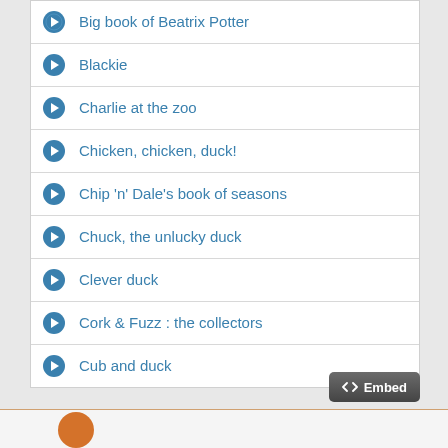Big book of Beatrix Potter
Blackie
Charlie at the zoo
Chicken, chicken, duck!
Chip 'n' Dale's book of seasons
Chuck, the unlucky duck
Clever duck
Cork & Fuzz : the collectors
Cub and duck
[Figure (screenshot): Embed button with code icon]